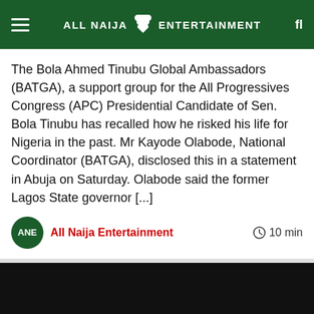ALL NAIJA ENTERTAINMENT
The Bola Ahmed Tinubu Global Ambassadors (BATGA), a support group for the All Progressives Congress (APC) Presidential Candidate of Sen. Bola Tinubu has recalled how he risked his life for Nigeria in the past. Mr Kayode Olabode, National Coordinator (BATGA), disclosed this in a statement in Abuja on Saturday. Olabode said the former Lagos State governor [...]
All Naija Entertainment
10 min